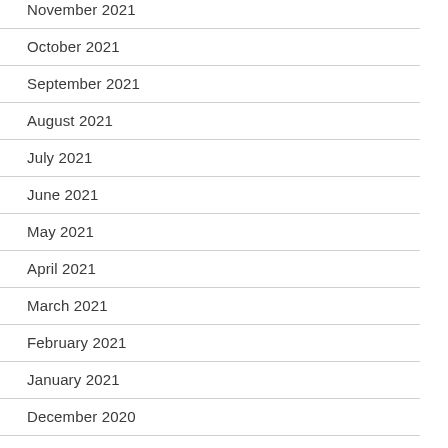November 2021
October 2021
September 2021
August 2021
July 2021
June 2021
May 2021
April 2021
March 2021
February 2021
January 2021
December 2020
July 2020
June 2020